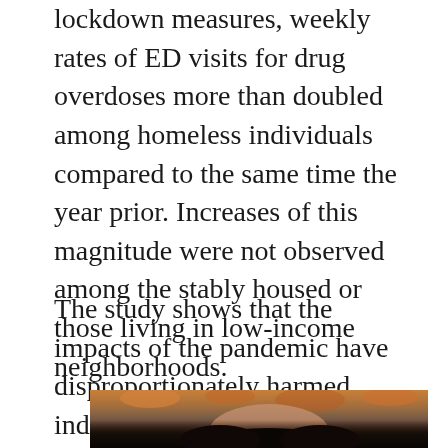lockdown measures, weekly rates of ED visits for drug overdoses more than doubled among homeless individuals compared to the same time the year prior. Increases of this magnitude were not observed among the stably housed or those living in low-income neighborhoods.
The study shows that the impacts of the pandemic have disproportionately harmed individuals experiencing homelessness, and suggests that greater supports are needed to address the intersection of homelessness and drug use.
[Figure (photo): Partial photo of a person with dark hair, outdoors with autumn foliage visible in the background]